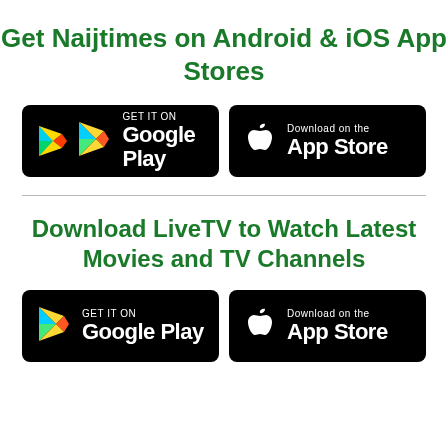Get Naijtimes on Android & iOS App Stores
[Figure (logo): Google Play Store badge (GET IT ON Google Play) and Apple App Store badge (Download on the App Store) - black rounded rectangles with store branding]
Download LiveTV to Watch Latest Movies and TV Channels
[Figure (logo): Google Play Store badge (GET IT ON Google Play) and Apple App Store badge (Download on the App Store) - black rounded rectangles with store branding]